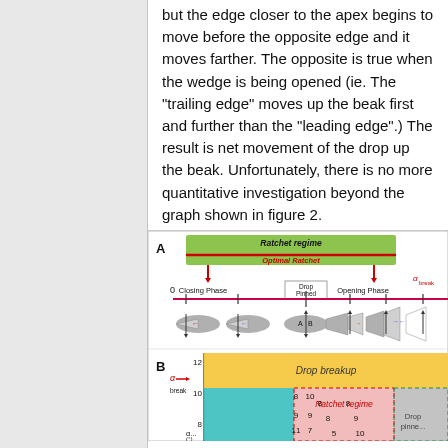but the edge closer to the apex begins to move before the opposite edge and it moves farther. The opposite is true when the wedge is being opened (ie. The "trailing edge" moves up the beak first and further than the "leading edge".) The result is net movement of the drop up the beak. Unfortunately, there is no more quantitative investigation beyond the graph shown in figure 2.
[Figure (schematic): Figure showing two panels A and B. Panel A: diagram of wedge beak cycle showing Ratchet regime (green box), Optimal Ratchet (red label), closing phase and opening phase labels, Drop Pinned label, alpha_break marker, and beak cross-section illustrations. Panel B: phase diagram with axes alpha_break (y-axis, 8-12) and alpha (x-axis), showing regions: Drop breakup (orange/yellow), Ratchet regime (pink), Drop pinned (gray), and a cyan/teal region, with numerical labels.]